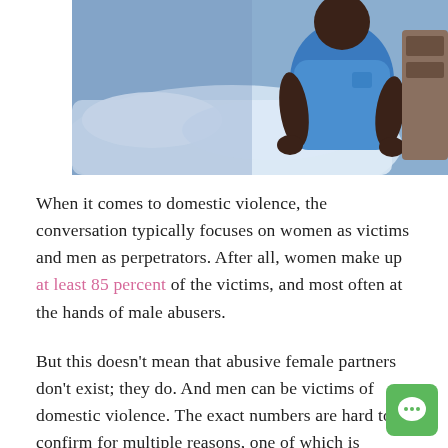[Figure (photo): A person sitting on a bed with back turned to camera, wearing a blue t-shirt, with white bedding visible in the background.]
When it comes to domestic violence, the conversation typically focuses on women as victims and men as perpetrators. After all, women make up at least 85 percent of the victims, and most often at the hands of male abusers.
But this doesn't mean that abusive female partners don't exist; they do. And men can be victims of domestic violence. The exact numbers are hard to confirm for multiple reasons, one of which is domestic violence in general is vastly underreported by victims, many of whom feel scared or ashamed to disclose. And many may not realize at the ti...